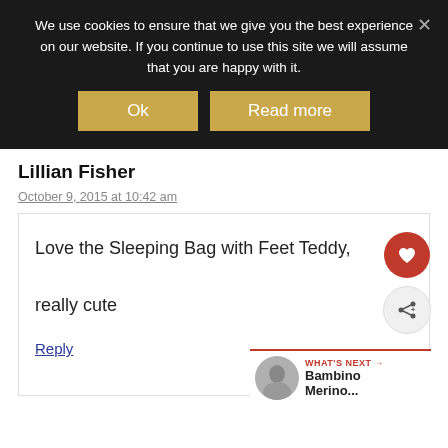We use cookies to ensure that we give you the best experience on our website. If you continue to use this site we will assume that you are happy with it.
Ok
Read more
Lillian Fisher
October 9, 2015 at 10:42 am
Love the Sleeping Bag with Feet Teddy, really cute
Reply
WHAT'S NEXT → Bambino Merino...